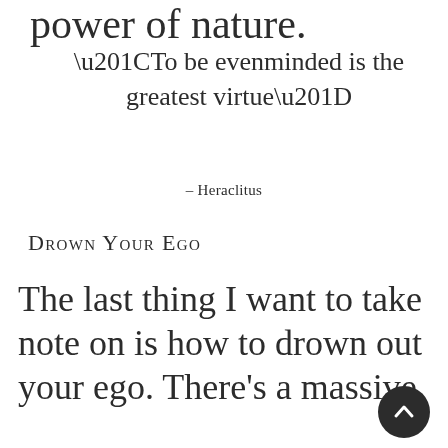power of nature.
“To be evenminded is the greatest virtue”
– Heraclitus
Drown Your Ego
The last thing I want to take note on is how to drown out your ego. There’s a massive